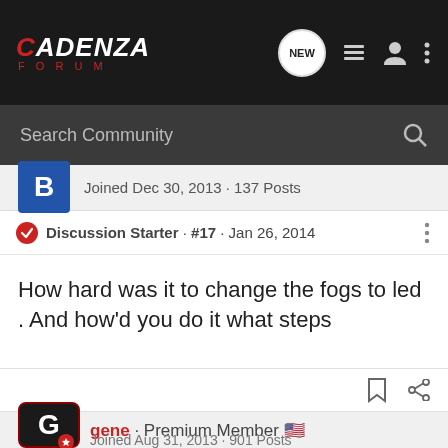CADENZA FORUM
Search Community
Joined Dec 30, 2013 · 137 Posts
Discussion Starter · #17 · Jan 26, 2014
How hard was it to change the fogs to led . And how'd you do it what steps
gene · Premium Member
Joined Aug 31, 2013 · 901 Posts